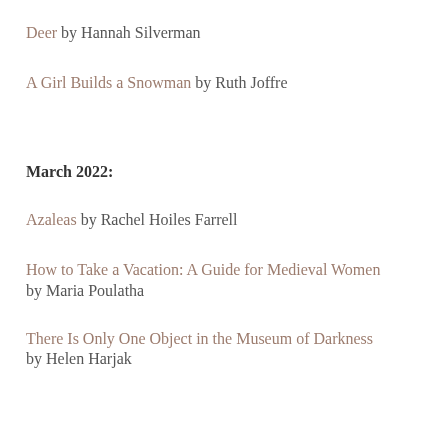Deer by Hannah Silverman
A Girl Builds a Snowman by Ruth Joffre
March 2022:
Azaleas by Rachel Hoiles Farrell
How to Take a Vacation: A Guide for Medieval Women by Maria Poulatha
There Is Only One Object in the Museum of Darkness by Helen Harjak